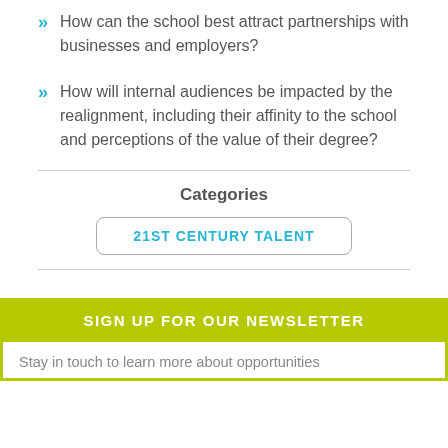How can the school best attract partnerships with businesses and employers?
How will internal audiences be impacted by the realignment, including their affinity to the school and perceptions of the value of their degree?
Categories
21ST CENTURY TALENT
SIGN UP FOR OUR NEWSLETTER
Stay in touch to learn more about opportunities